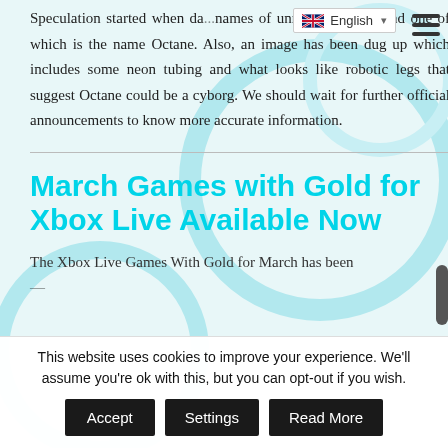English (language selector with flag)
Speculation started when da...names of unreleased chara...nd one of which is the name Octane. Also, an image has been dug up which includes some neon tubing and what looks like robotic legs that suggest Octane could be a cyborg. We should wait for further official announcements to know more accurate information.
March Games with Gold for Xbox Live Available Now
The Xbox Live Games With Gold for March has been...
This website uses cookies to improve your experience. We'll assume you're ok with this, but you can opt-out if you wish.